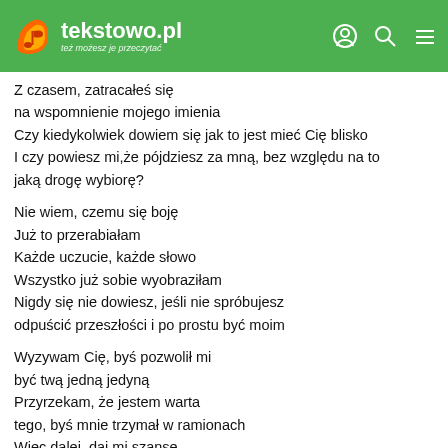tekstowo.pl – też możesz je przeczytać
Z czasem, zatracałeś się
na wspomnienie mojego imienia
Czy kiedykolwiek dowiem się jak to jest mieć Cię blisko
I czy powiesz mi,że pójdziesz za mną, bez względu na to
jaką drogę wybiorę?

Nie wiem, czemu się boję
Już to przerabiałam
Każde uczucie, każde słowo
Wszystko już sobie wyobraziłam
Nigdy się nie dowiesz, jeśli nie spróbujesz
odpuścić przeszłości i po prostu być moim

Wyzywam Cię, byś pozwolił mi
być twą jedną jedyną
Przyrekam, że jestem warta
tego, byś mnie trzymał w ramionach
Więc dalej, daj mi szansę
udowodnić, że jestem jedyną,
która pokona ten dystans, nim nadejdzie koniec